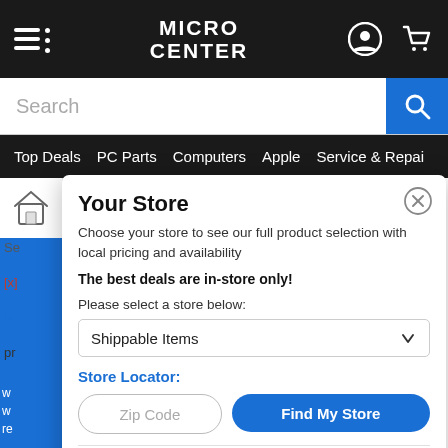[Figure (screenshot): Micro Center website header with hamburger menu, logo, user icon, and cart icon on dark background]
[Figure (screenshot): Search bar with 'Search' placeholder text and blue search button]
Top Deals  PC Parts  Computers  Apple  Service & Repair
[Figure (screenshot): Store selector modal dialog on Micro Center website. Title: 'Your Store'. Text: 'Choose your store to see our full product selection with local pricing and availability'. Bold text: 'The best deals are in-store only!'. Label: 'Please select a store below:'. Dropdown: 'Shippable Items'. Store Locator section with Zip Code input and Find My Store button. Store row: Fairfax  17.4 mi  Shop]
Your Store
Choose your store to see our full product selection with local pricing and availability
The best deals are in-store only!
Please select a store below:
Shippable Items
Store Locator:
Zip Code
Find My Store
| Store | Distance | Action |
| --- | --- | --- |
| Fairfax | 17.4 mi | Shop |